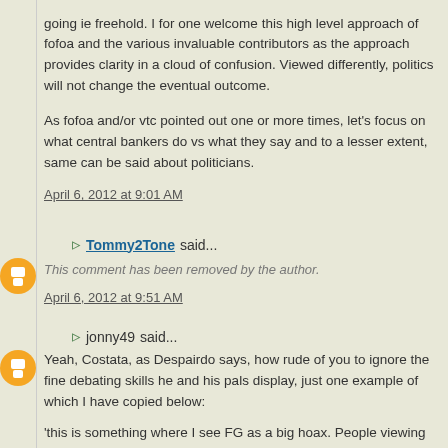going ie freehold. I for one welcome this high level approach of fofoa and the various invaluable contributors as the approach provides clarity in a cloud of confusion. Viewed differently, politics will not change the eventual outcome.
As fofoa and/or vtc pointed out one or more times, let's focus on what central bankers do vs what they say and to a lesser extent, same can be said about politicians.
April 6, 2012 at 9:01 AM
Tommy2Tone said...
This comment has been removed by the author.
April 6, 2012 at 9:51 AM
jonny49 said...
Yeah, Costata, as Despairdo says, how rude of you to ignore the fine debating skills he and his pals display, just one example of which I have copied below:
'this is something where I see FG as a big hoax. People viewing ANOTHER as the ultimate cult leader, completely ignoring and blinding out REALITY. I mean this stuff you mentioned is REAL,